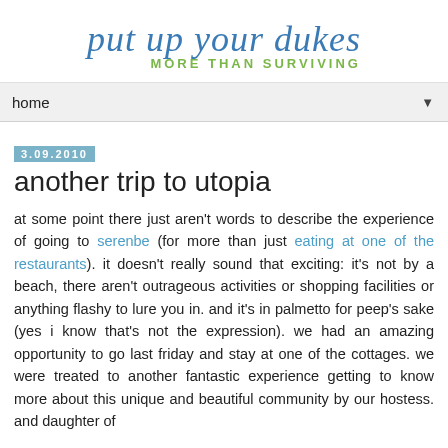[Figure (logo): Blog logo: 'put up your dukes' in blue italic serif font with 'MORE THAN SURVIVING' in green bold caps below]
home ▼
3.09.2010
another trip to utopia
at some point there just aren't words to describe the experience of going to serenbe (for more than just eating at one of the restaurants). it doesn't really sound that exciting: it's not by a beach, there aren't outrageous activities or shopping facilities or anything flashy to lure you in. and it's in palmetto for peep's sake (yes i know that's not the expression). we had an amazing opportunity to go last friday and stay at one of the cottages. we were treated to another fantastic experience getting to know more about this unique and beautiful community by our hostess. and daughter of